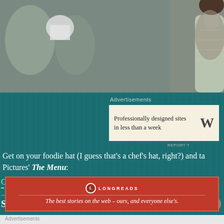[Figure (photo): Close-up photo of a person wearing a light grey chef uniform or high-collar jacket, shot from chest up. Blurred kitchen background with other people visible.]
Advertisements
[Figure (other): Advertisement banner: 'Professionally designed sites in less than a week' with WordPress logo (W)]
REPORT T
Get on your foodie hat (I guess that’s a chef’s hat, right?) and ta Pictures’ The Menu:
Continue reading →
Share this:
Advertisements
[Figure (logo): Longreads banner advertisement in dark red/crimson color. Shows Longreads logo (circular L icon) and tagline: 'The best stories on the web – ours, and everyone else’s.']